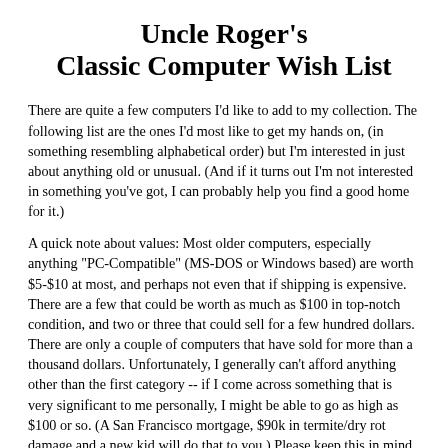Uncle Roger's Classic Computer Wish List
There are quite a few computers I'd like to add to my collection. The following list are the ones I'd most like to get my hands on, (in something resembling alphabetical order) but I'm interested in just about anything old or unusual. (And if it turns out I'm not interested in something you've got, I can probably help you find a good home for it.)
A quick note about values: Most older computers, especially anything "PC-Compatible" (MS-DOS or Windows based) are worth $5-$10 at most, and perhaps not even that if shipping is expensive. There are a few that could be worth as much as $100 in top-notch condition, and two or three that could sell for a few hundred dollars. There are only a couple of computers that have sold for more than a thousand dollars. Unfortunately, I generally can't afford anything other than the first category -- if I come across something that is very significant to me personally, I might be able to go as high as $100 or so. (A San Francisco mortgage, $90k in termite/dry rot damage and a new kid will do that to you.) Please keep this in mind when you want to sell an overly